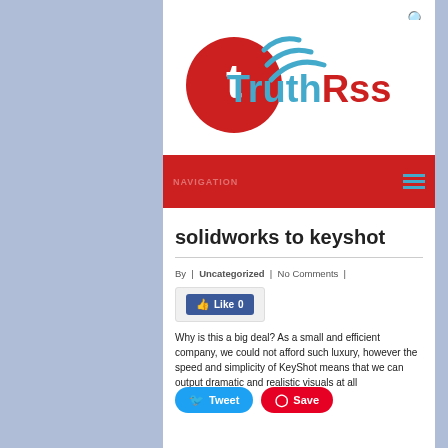[Figure (logo): TruthRss logo with red circle containing a white 't' and cyan WiFi/RSS signal arcs, with 'TruthRss' text in cyan and red]
NAVIGATION
solidworks to keyshot
By | Uncategorized | No Comments |
Like 0
Why is this a big deal? As a small and efficient company, we could not afford such luxury, however the speed and simplicity of KeyShot means that we can output dramatic and realistic visuals at all